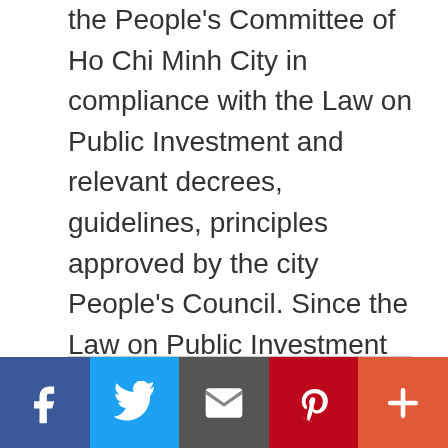the People's Committee of Ho Chi Minh City in compliance with the Law on Public Investment and relevant decrees, guidelines, principles approved by the city People's Council. Since the Law on Public Investment 2014 took effect, Ho Chi Minh City has approved investment policies for 1,949 projects with a total investment capital of the city budget of more than VND302 trillion (US$12,9 billion). Through the review of the period 2016-2020, 521 projects were transitional projects from 2011 to 2015 with a total capital of more than VND24 trillion, … [Read more...]
[Figure (infographic): Social media share buttons: Facebook, Twitter, Email, Pinterest, More]